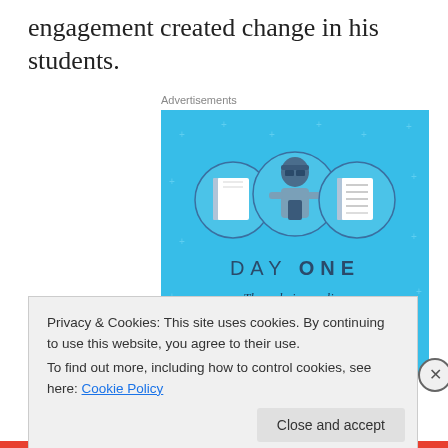engagement created change in his students.
Advertisements
[Figure (illustration): Day One journaling app advertisement. Blue background with illustration of a person holding a phone, flanked by circular icons of a blank notebook and a lined notebook. Text reads 'DAY ONE' and 'The only journaling app you'll ever need.']
Privacy & Cookies: This site uses cookies. By continuing to use this website, you agree to their use.
To find out more, including how to control cookies, see here: Cookie Policy